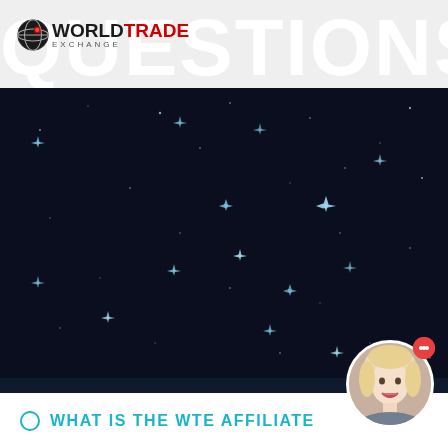WORLD TRADE EXCHANGE — QUESTIONS!
[Figure (illustration): Dark navy starfield background with scattered glowing star shapes of varying sizes]
[Figure (photo): Circular avatar photo of a smiling blonde woman with a red notification bubble in top right]
WHAT IS THE WTE AFFILIATE